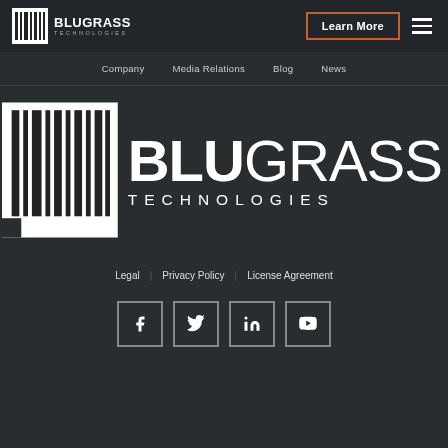[Figure (logo): Blugrass Technologies logo - small barcode icon with BLU GRASS TECHNOLOGIES text, top navigation bar with Learn More button and hamburger menu]
Company   Media Relations   Blog   News
[Figure (logo): Large Blugrass Technologies logo - barcode icon on left, BLUGRASS TECHNOLOGIES text on right on dark background]
Legal   Privacy Policy   License Agreement
[Figure (infographic): Social media icons: Facebook, Twitter, LinkedIn, YouTube - white icons in square outlined boxes]